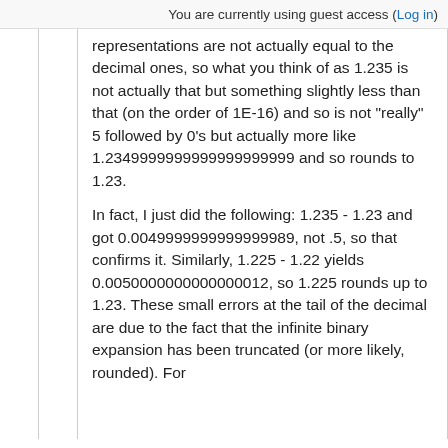You are currently using guest access (Log in)
representations are not actually equal to the decimal ones, so what you think of as 1.235 is not actually that but something slightly less than that (on the order of 1E-16) and so is not "really" 5 followed by 0's but actually more like 1.2349999999999999999999 and so rounds to 1.23.
In fact, I just did the following: 1.235 - 1.23 and got 0.0049999999999999989, not .5, so that confirms it. Similarly, 1.225 - 1.22 yields 0.0050000000000000012, so 1.225 rounds up to 1.23. These small errors at the tail of the decimal are due to the fact that the infinite binary expansion has been truncated (or more likely, rounded). For